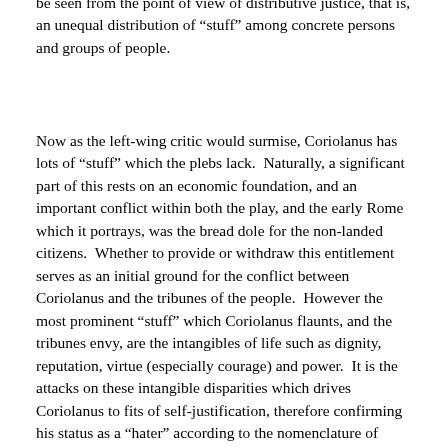be seen from the point of view of distributive justice, that is, an unequal distribution of “stuff” among concrete persons and groups of people.
Now as the left-wing critic would surmise, Coriolanus has lots of “stuff” which the plebs lack.  Naturally, a significant part of this rests on an economic foundation, and an important conflict within both the play, and the early Rome which it portrays, was the bread dole for the non-landed citizens.  Whether to provide or withdraw this entitlement serves as an initial ground for the conflict between Coriolanus and the tribunes of the people.  However the most prominent “stuff” which Coriolanus flaunts, and the tribunes envy, are the intangibles of life such as dignity, reputation, virtue (especially courage) and power.  It is the attacks on these intangible disparities which drives Coriolanus to fits of self-justification, therefore confirming his status as a “hater” according to the nomenclature of modern leftism. Thus Shakespeare portrays him as cursing the common man, and under only condition that